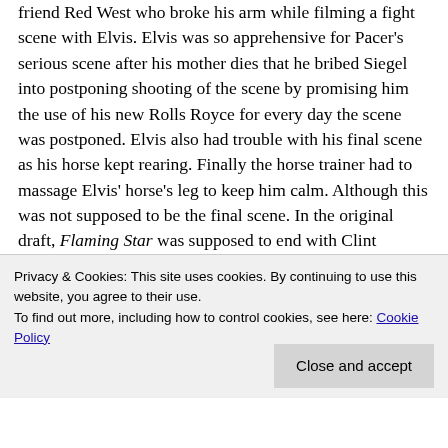friend Red West who broke his arm while filming a fight scene with Elvis. Elvis was so apprehensive for Pacer's serious scene after his mother dies that he bribed Siegel into postponing shooting of the scene by promising him the use of his new Rolls Royce for every day the scene was postponed. Elvis also had trouble with his final scene as his horse kept rearing. Finally the horse trainer had to massage Elvis' horse's leg to keep him calm. Although this was not supposed to be the final scene. In the original draft, Flaming Star was supposed to end with Clint (Pacer's brother) burning down his family's ranch in grief after his brother Pacer rides away to die. On August 25, 1960, Elvis was photographed by Don Cranes for Life magazine at the
Privacy & Cookies: This site uses cookies. By continuing to use this website, you agree to their use.
To find out more, including how to control cookies, see here: Cookie Policy